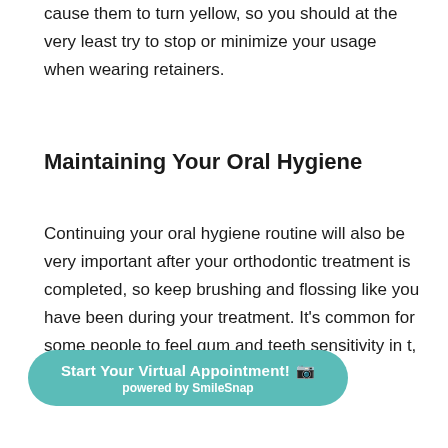cause them to turn yellow, so you should at the very least try to stop or minimize your usage when wearing retainers.
Maintaining Your Oral Hygiene
Continuing your oral hygiene routine will also be very important after your orthodontic treatment is completed, so keep brushing and flossing like you have been during your treatment. It's common for some people to feel gum and teeth sensitivity in t, so we